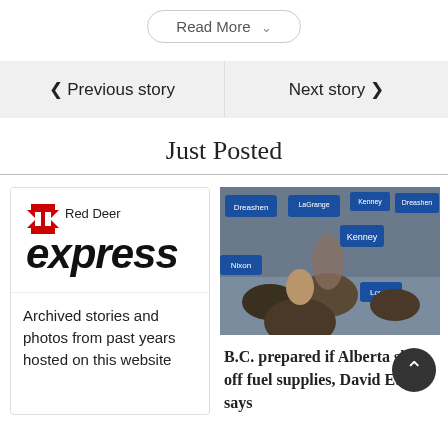Read More
< Previous story
Next story >
Just Posted
[Figure (logo): Red Deer Express newspaper logo with red X graphic]
Archived stories and photos from past years hosted on this website
[Figure (photo): Crowd at political rally holding campaign signs including Kenney, Nixon, LaGrange, Dreashen, and Loveh]
B.C. prepared if Alberta shuts off fuel supplies, David Eby says